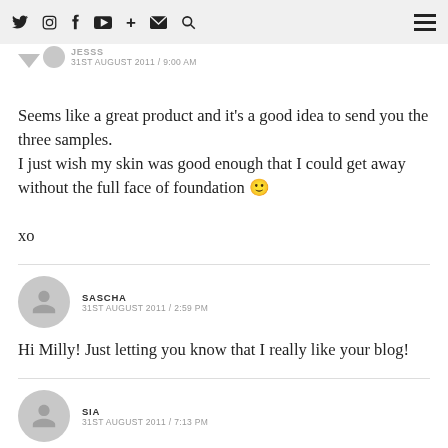Twitter Instagram Facebook YouTube + Email Search [hamburger menu]
JESSS
31ST AUGUST 2011 / 9:00 AM
Seems like a great product and it's a good idea to send you the three samples.
I just wish my skin was good enough that I could get away without the full face of foundation 🙂

xo
SASCHA
31ST AUGUST 2011 / 2:59 PM
Hi Milly! Just letting you know that I really like your blog!
SIA
31ST AUGUST 2011 / 7:13 PM